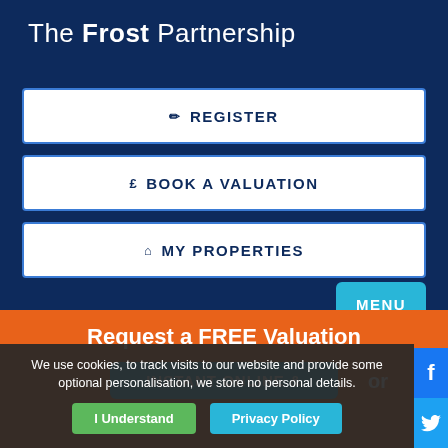The Frost Partnership
✏ REGISTER
£ BOOK A VALUATION
⌂ MY PROPERTIES
MENU
Request a FREE Valuation
INSTANT ONLINE & or
We use cookies, to track visits to our website and provide some optional personalisation, we store no personal details.
I Understand
Privacy Policy